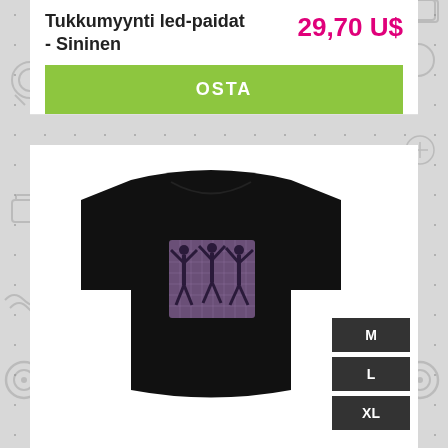Tukkumyynti led-paidat - Sininen
29,70 US
OSTA
[Figure (photo): Black LED t-shirt with a purple graphic panel showing three silhouetted dancing figures with raised arms]
M
L
XL
LED T-PAIDAT